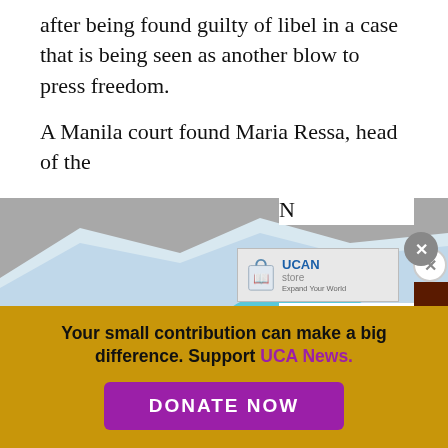after being found guilty of libel in a case that is being seen as another blow to press freedom.
A Manila court found Maria Ressa, head of the N ...bel for ...hinese ...ntos, Jr., a ...me.
[Figure (screenshot): Screenshot of a webpage showing a whale illustration advertisement overlay over an iceberg image. A UCA Store popup with logo is visible. A 'SPECIAL EBOOKS' sidebar runs vertically on the right side with a close (x) button. A small photo with 'E' badge is visible at the bottom left.]
Your small contribution can make a big difference. Support UCA News.
DONATE NOW